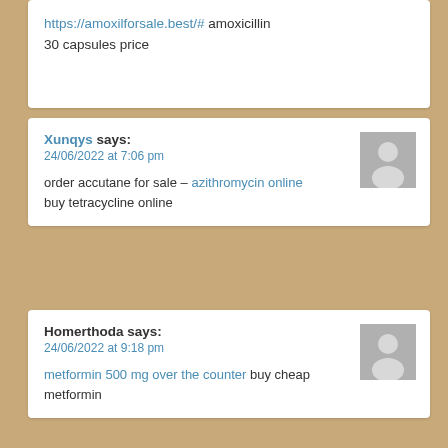https://amoxilforsale.best/# amoxicillin 30 capsules price
Xunqys says:
24/06/2022 at 7:06 pm

order accutane for sale – azithromycin online buy tetracycline online
Homerthoda says:
24/06/2022 at 9:18 pm

metformin 500 mg over the counter buy cheap metformin